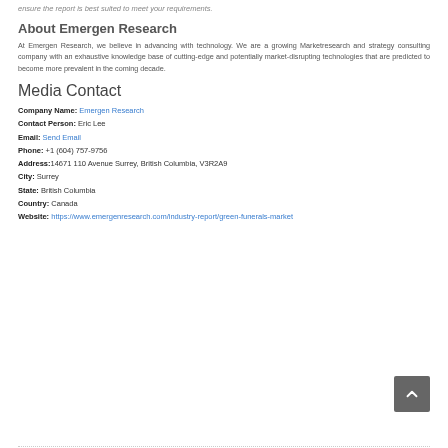ensure the report is best suited to meet your requirements.
About Emergen Research
At Emergen Research, we believe in advancing with technology. We are a growing Marketresearch and strategy consulting company with an exhaustive knowledge base of cutting-edge and potentially market-disrupting technologies that are predicted to become more prevalent in the coming decade.
Media Contact
Company Name: Emergen Research
Contact Person: Eric Lee
Email: Send Email
Phone: +1 (604) 757-9756
Address: 14671 110 Avenue Surrey, British Columbia, V3R2A9
City: Surrey
State: British Columbia
Country: Canada
Website: https://www.emergenresearch.com/industry-report/green-funerals-market